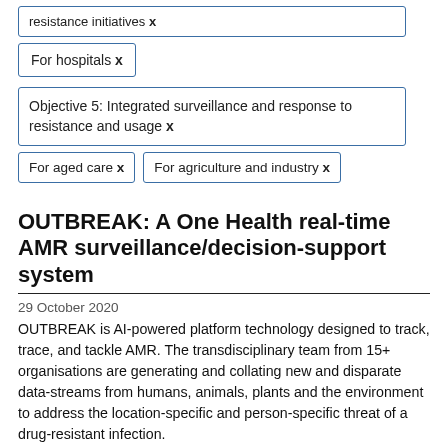resistance initiatives x
For hospitals x
Objective 5: Integrated surveillance and response to resistance and usage x
For aged care x
For agriculture and industry x
OUTBREAK: A One Health real-time AMR surveillance/decision-support system
29 October 2020
OUTBREAK is AI-powered platform technology designed to track, trace, and tackle AMR. The transdisciplinary team from 15+ organisations are generating and collating new and disparate data-streams from humans, animals, plants and the environment to address the location-specific and person-specific threat of a drug-resistant infection.